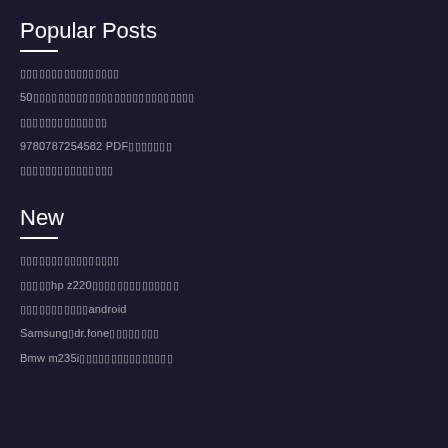Popular Posts
????????????????
50???????????????????????????????????
??????????????
9780787254582 PDF????????
???????????????
New
????????????????
?????hp z220???????????????????
???????????android
Samsung?dr.fone??????????
Bmw m235i????????????????????